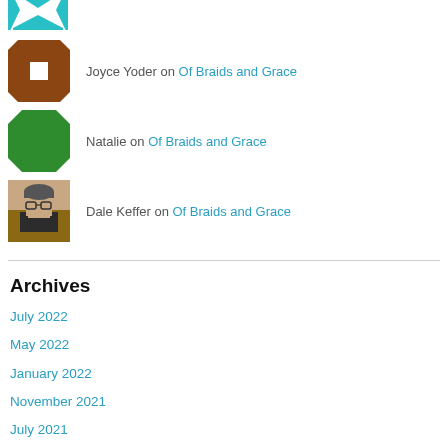Joyce Yoder on Of Braids and Grace
Natalie on Of Braids and Grace
Dale Keffer on Of Braids and Grace
Archives
July 2022
May 2022
January 2022
November 2021
July 2021
February 2021
January 2021